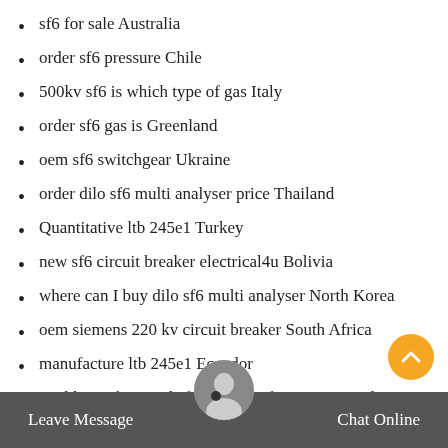sf6 for sale Australia
order sf6 pressure Chile
500kv sf6 is which type of gas Italy
order sf6 gas is Greenland
oem sf6 switchgear Ukraine
order dilo sf6 multi analyser price Thailand
Quantitative ltb 245e1 Turkey
new sf6 circuit breaker electrical4u Bolivia
where can I buy dilo sf6 multi analyser North Korea
oem siemens 220 kv circuit breaker South Africa
manufacture ltb 245e1 Ecuador
Highly professional sf6 gas manufacturers Canada
Maintenance 245 kv sf6 circuit breaker Indonesia
Leave Message   Chat Online